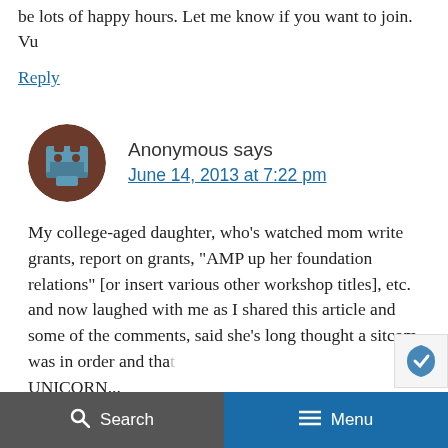be lots of happy hours. Let me know if you want to join. Vu
Reply
Anonymous says
June 14, 2013 at 7:22 pm
My college-aged daughter, who's watched mom write grants, report on grants, "AMP up her foundation relations" [or insert various other workshop titles], etc. and now laughed with me as I shared this article and some of the comments, said she's long thought a sitcom was in order and that UNICORN...
Search   Menu